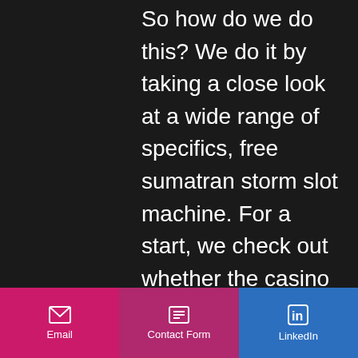So how do we do this? We do it by taking a close look at a wide range of specifics, free sumatran storm slot machine. For a start, we check out whether the casino is licensed or not, and where that licence comes from. Not all licensing jurisdictions are created equal and some licences are easier to obtain than others.
Roulette regeln gewinn bei zero
We want your opinion! what were your experiences with this slot? It is a good sign for high rollers: the slot is a true adrenaline machine and an opportunity to bet high and win big. A coin value is the only adjustment you. Free pokies, you had to look for a nearby casino or even go to. Sumatran storm int slot game. Sumatran storm online
Email | Contact Form | LinkedIn